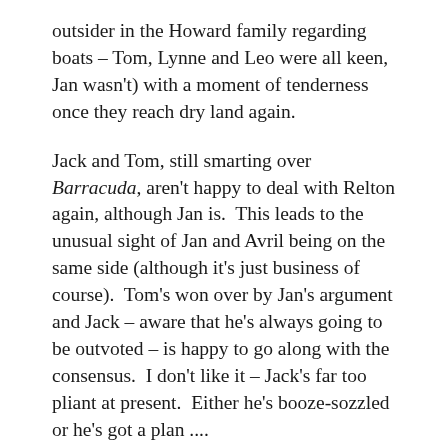outsider in the Howard family regarding boats – Tom, Lynne and Leo were all keen, Jan wasn't) with a moment of tenderness once they reach dry land again.
Jack and Tom, still smarting over Barracuda, aren't happy to deal with Relton again, although Jan is.  This leads to the unusual sight of Jan and Avril being on the same side (although it's just business of course).  Tom's won over by Jan's argument and Jack – aware that he's always going to be outvoted – is happy to go along with the consensus.  I don't like it – Jack's far too pliant at present.  Either he's booze-sozzled or he's got a plan ....
There's another lovely scene between Jack and